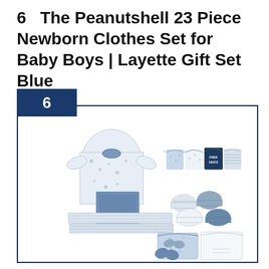6   The Peanutshell 23 Piece Newborn Clothes Set for Baby Boys | Layette Gift Set Blue
[Figure (photo): Product photo of The Peanutshell 23 Piece Newborn Clothes Set for Baby Boys in blue, showing various infant clothing items including onesies, gowns, hats, mittens, blankets and other clothing items arranged on a white background. Items are in shades of blue, white and grey with animal and stripe patterns. One onesie reads 'FREE HUGS'. A dark navy numbered badge showing '6' appears in the top-left corner of the image frame.]